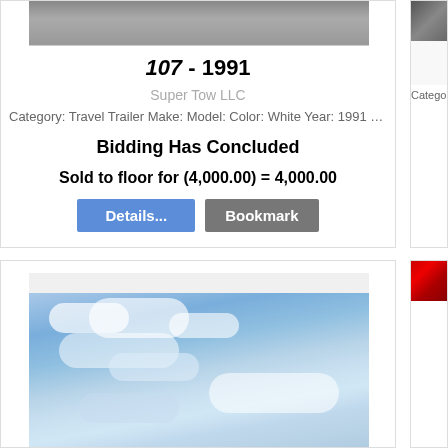[Figure (photo): Partial top of a vehicle image, cropped at top]
107 - 1991
Super Tow LLC
Category: Travel Trailer Make: Model: Color: White Year: 1991 VIN#: 1...
Bidding Has Concluded
Sold to floor for (4,000.00) = 4,000.00
Details...
Bookmark
[Figure (photo): Blue sky with white clouds photo]
Category: Fo...